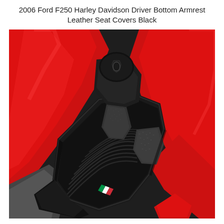2006 Ford F250 Harley Davidson Driver Bottom Armrest Leather Seat Covers Black
[Figure (photo): A Ducati motorcycle seat with black leather and textured fabric upholstery featuring an Italian flag (green, white, red) stripe motif. The seat is surrounded by glossy red fairings/bodywork. The Ducati logo emblem is visible on a black component at the top. The background is dark grey textured surface.]